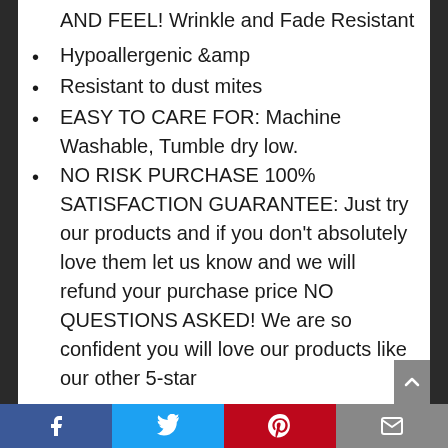AND FEEL! Wrinkle and Fade Resistant
Hypoallergenic &amp
Resistant to dust mites
EASY TO CARE FOR: Machine Washable, Tumble dry low.
NO RISK PURCHASE 100% SATISFACTION GUARANTEE: Just try our products and if you don't absolutely love them let us know and we will refund your purchase price NO QUESTIONS ASKED! We are so confident you will love our products like our other 5-star